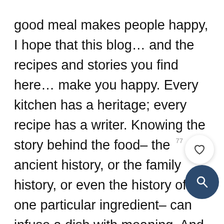good meal makes people happy, I hope that this blog… and the recipes and stories you find here… make you happy. Every kitchen has a heritage; every recipe has a writer. Knowing the story behind the food– the ancient history, or the family history, or even the history of one particular ingredient– can infuse a dish with meaning. And then a meal becomes more than just food, something that fills you up physically. Food takes on a spiritual significance, and ultimately becomes more nourishing.